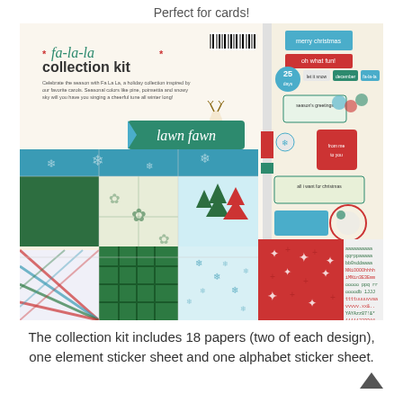Perfect for cards!
[Figure (photo): Fa-la-la collection kit product image showing holiday patterned papers with Christmas designs (bells, trees, snowflakes, ornaments, deer), element sticker sheet with Christmas labels and tags, and alphabet sticker sheet, all in red, green, teal/aqua, and cream colors. The kit packaging shows the Lawn Fawn brand logo with a deer illustration.]
The collection kit includes 18 papers (two of each design), one element sticker sheet and one alphabet sticker sheet.